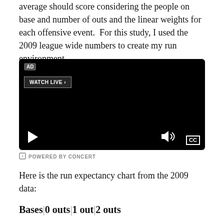average should score considering the people on base and number of outs and the linear weights for each offensive event.  For this study, I used the 2009 league wide numbers to create my run environment.
[Figure (screenshot): A black video player with AD badge, WATCH LIVE button, play button, volume icon, and CC button. Labeled 'POWERED BY CONCERT' below.]
Here is the run expectancy chart from the 2009 data:
Bases|0 outs|1 out|2 outs